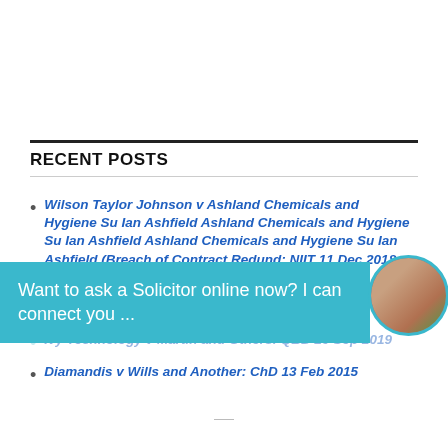RECENT POSTS
Wilson Taylor Johnson v Ashland Chemicals and Hygiene Su Ian Ashfield Ashland Chemicals and Hygiene Su Ian Ashfield Ashland Chemicals and Hygiene Su Ian Ashfield (Breach of Contract Redund: NIIT 11 Dec 2018
Ivy Technology v Martin and Others: QBD 20 Sep 2019
Diamandis v Wills and Another: ChD 13 Feb 2015